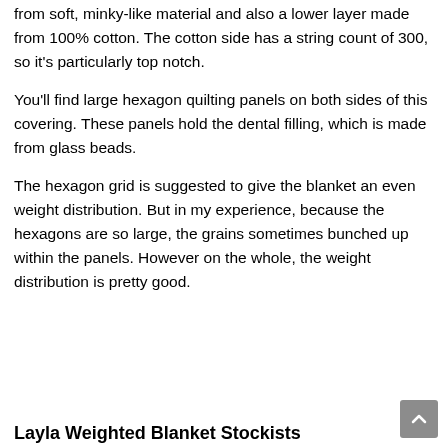from soft, minky-like material and also a lower layer made from 100% cotton. The cotton side has a string count of 300, so it's particularly top notch.
You'll find large hexagon quilting panels on both sides of this covering. These panels hold the dental filling, which is made from glass beads.
The hexagon grid is suggested to give the blanket an even weight distribution. But in my experience, because the hexagons are so large, the grains sometimes bunched up within the panels. However on the whole, the weight distribution is pretty good.
Layla Weighted Blanket Stockists